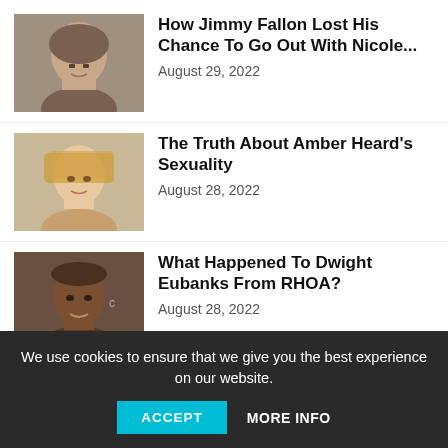[Figure (photo): Photo of Jimmy Fallon, a man in dark suit]
How Jimmy Fallon Lost His Chance To Go Out With Nicole...
August 29, 2022
[Figure (photo): Photo of Amber Heard, a blonde woman]
The Truth About Amber Heard’s Sexuality
August 28, 2022
[Figure (photo): Photo of Dwight Eubanks, a person at an event]
What Happened To Dwight Eubanks From RHOA?
August 28, 2022
We use cookies to ensure that we give you the best experience on our website.
ACCEPT
MORE INFO